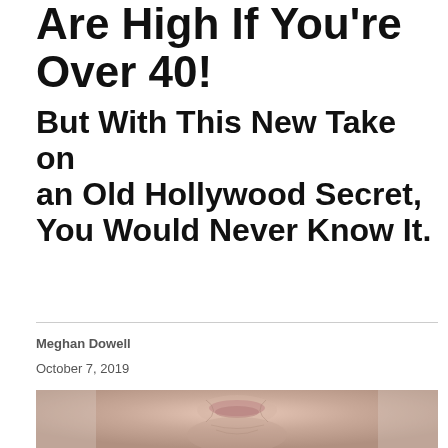Are High If You're Over 40!
But With This New Take on an Old Hollywood Secret, You Would Never Know It.
Meghan Dowell
October 7, 2019
[Figure (photo): Close-up photograph of an elderly woman's face showing wrinkled skin around mouth, chin, and jaw area against a neutral background.]